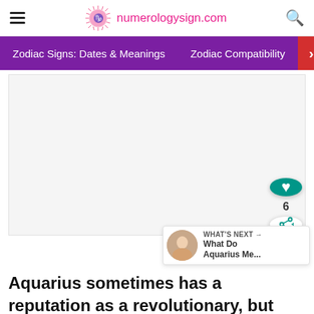numerologysign.com
Zodiac Signs: Dates & Meanings   Zodiac Compatibility
[Figure (other): Large content/advertisement placeholder area with light gray background]
WHAT'S NEXT → What Do Aquarius Me...
Aquarius sometimes has a reputation as a revolutionary, but regardless of his philosophy